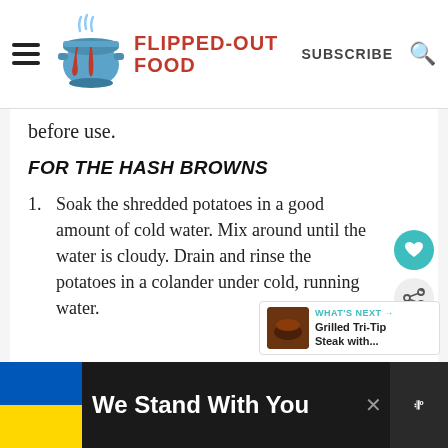[Figure (logo): Flipped-Out Food logo with blue cooking pot and red text]
before use.
FOR THE HASH BROWNS
1. Soak the shredded potatoes in a good amount of cold water. Mix around until the water is cloudy. Drain and rinse the potatoes in a colander under cold, running water.
[Figure (infographic): What's Next arrow with Grilled Tri-Tip Steak with... thumbnail]
[Figure (infographic): We Stand With You ad banner with Ukrainian flag colors]